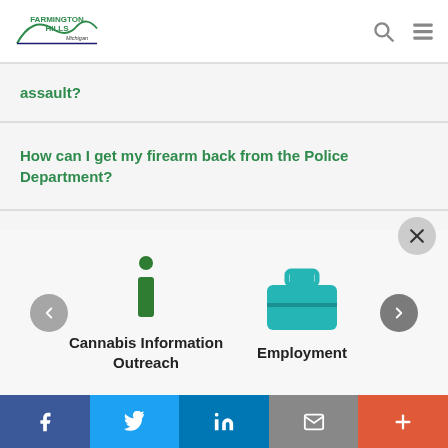[Figure (logo): Farmington Hills Michigan city logo with arch graphic and green text]
assault?
How can I get my firearm back from the Police Department?
How can I notify police that I will be away on vacation?
[Figure (infographic): Cannabis Information Outreach icon (green info 'i' symbol) with navigation arrows and Employment icon (teal briefcase)]
Facebook | Twitter | LinkedIn | Email | More